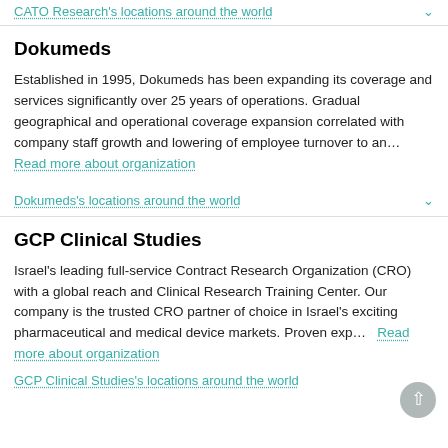CATO Research's locations around the world
Dokumeds
Established in 1995, Dokumeds has been expanding its coverage and services significantly over 25 years of operations. Gradual geographical and operational coverage expansion correlated with company staff growth and lowering of employee turnover to an...  Read more about organization
Dokumeds's locations around the world
GCP Clinical Studies
Israel's leading full-service Contract Research Organization (CRO) with a global reach and Clinical Research Training Center. Our company is the trusted CRO partner of choice in Israel's exciting pharmaceutical and medical device markets. Proven exp...  Read more about organization
GCP Clinical Studies's locations around the world